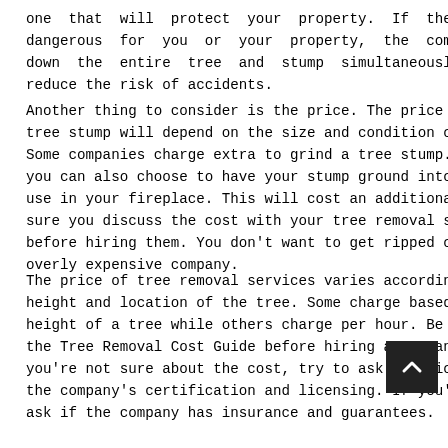one that will protect your property. If the tree is too dangerous for you or your property, the company will take down the entire tree and stump simultaneously. This will reduce the risk of accidents.
Another thing to consider is the price. The price of removing a tree stump will depend on the size and condition of your yard. Some companies charge extra to grind a tree stump. However, you can also choose to have your stump ground into logs to use in your fireplace. This will cost an additional $500. Make sure you discuss the cost with your tree removal service before hiring them. You don't want to get ripped off by an overly expensive company.
The price of tree removal services varies according to the height and location of the tree. Some charge based on the height of a tree while others charge per hour. Be sure to check the Tree Removal Cost Guide before hiring a company. If you're not sure about the cost, try to ask questions regarding the company's certification and licensing. If you're n e, ask if the company has insurance and guarantees. In some